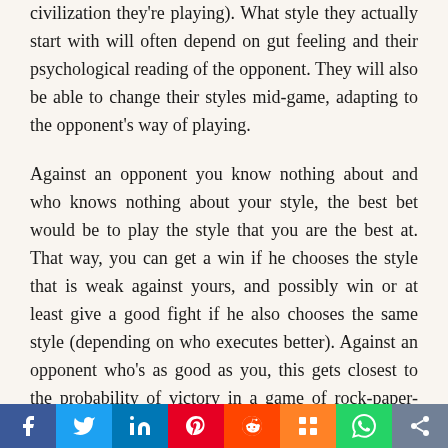civilization they're playing). What style they actually start with will often depend on gut feeling and their psychological reading of the opponent. They will also be able to change their styles mid-game, adapting to the opponent's way of playing.
Against an opponent you know nothing about and who knows nothing about your style, the best bet would be to play the style that you are the best at. That way, you can get a win if he chooses the style that is weak against yours, and possibly win or at least give a good fight if he also chooses the same style (depending on who executes better). Against an opponent who's as good as you, this gets closest to the probability of victory in a game of rock-paper-scissors.
If you know that the other player has a single specialization which he uses every time, and he
Social share bar: Facebook, Twitter, LinkedIn, Pinterest, Reddit, Mix, WhatsApp, Share